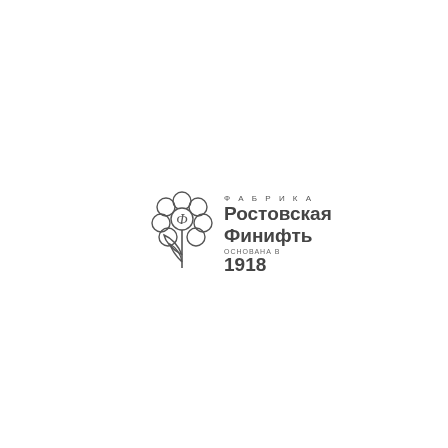[Figure (logo): Logo of Fabrika Rostovskaya Finift (Ростовская Финифть factory), founded in 1918. Features a stylized flower/enamel medallion illustration on the left, with text on the right: 'ФАБРИКА' in small caps, 'Ростовская' in large bold, 'Финифть' in large bold, 'ОСНОВАНА В' in small caps, '1918' in large bold.]